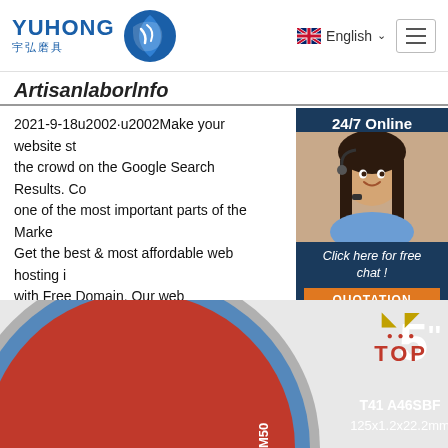[Figure (logo): YUHONG 宇弘磨具 logo with blue wave globe icon]
English
Artisanlaborlnfo
2021-9-18u2002·u2002Make your website stand out from the crowd on the Google Search Results. Content is one of the most important parts of the Marketing. Get the best & most affordable web hosting in Myanmar with Free Domain. Our web development starts from 200,000 MMK including Free Hosting & Domain.
[Figure (photo): Customer service representative with headset and 24/7 Online chat widget with Click here for free chat and QUOTATION button]
Get Price
[Figure (photo): Yuhong abrasive cutting disc 5 inch T41 A46SBF 125x1.2x22.2mm product image with TOP badge]